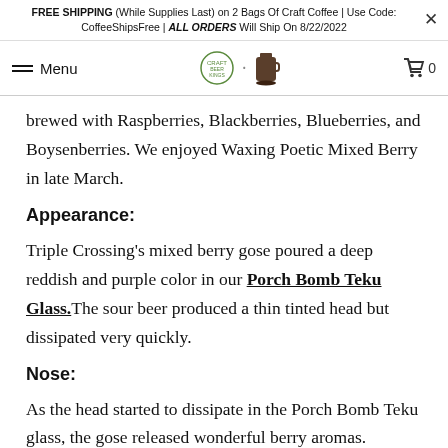FREE SHIPPING (While Supplies Last) on 2 Bags Of Craft Coffee | Use Code: CoffeeShipsFree | ALL ORDERS Will Ship On 8/22/2022
Menu | [logo] | Cart 0
brewed with Raspberries, Blackberries, Blueberries, and Boysenberries. We enjoyed Waxing Poetic Mixed Berry in late March.
Appearance:
Triple Crossing's mixed berry gose poured a deep reddish and purple color in our Porch Bomb Teku Glass. The sour beer produced a thin tinted head but dissipated very quickly.
Nose:
As the head started to dissipate in the Porch Bomb Teku glass, the gose released wonderful berry aromas. Naturally, we were able to pick up the lactic acid in the